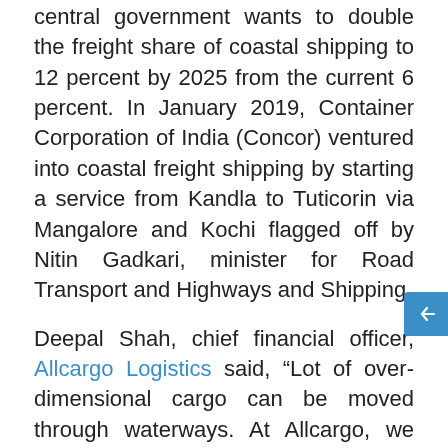central government wants to double the freight share of coastal shipping to 12 percent by 2025 from the current 6 percent. In January 2019, Container Corporation of India (Concor) ventured into coastal freight shipping by starting a service from Kandla to Tuticorin via Mangalore and Kochi flagged off by Nitin Gadkari, minister for Road Transport and Highways and Shipping.
Deepal Shah, chief financial officer, Allcargo Logistics said, “Lot of over-dimensional cargo can be moved through waterways. At Allcargo, we have moved stator using the multimodal ro (road and coastal) for a thermal power project in Nabinahar. Route was – Sanand to Mundra (road), Mundra to Kolkata (coastal route), Kolkata to Bakhtiyarpur (Ganges). This